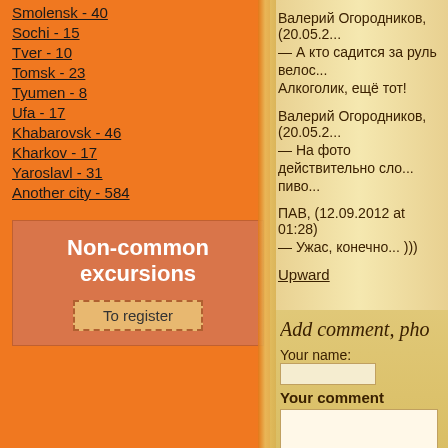Smolensk - 40
Sochi - 15
Tver - 10
Tomsk - 23
Tyumen - 8
Ufa - 17
Khabarovsk - 46
Kharkov - 17
Yaroslavl - 31
Another city - 584
Non-common excursions
To register
Валерий Огородников, (20.05.2...
— А кто садится за руль велос... Алкоголик, ещё тот!
Валерий Огородников, (20.05.2...
— На фото действительно сло... пиво...
ПАВ, (12.09.2012 at 01:28)
— Ужас, конечно... )))
Upward
Add comment, pho
Your name:
Your comment